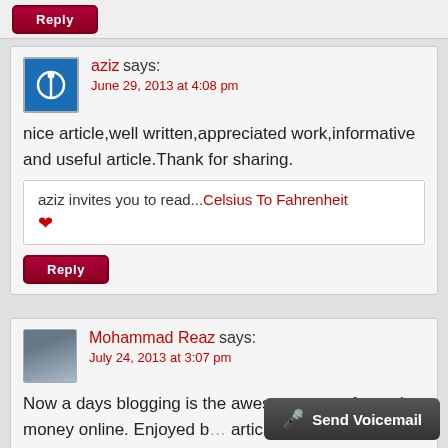[Figure (other): Red Reply button at the top]
aziz says:
June 29, 2013 at 4:08 pm
nice article,well written,appreciated work,informative and useful article.Thank for sharing.
aziz invites you to read...Celsius To Fahrenheit ♥
[Figure (other): Red Reply button]
Mohammad Reaz says:
July 24, 2013 at 3:07 pm
Now a days blogging is the awesome ways for make money online. Enjoyed b... article. Thanks for your post.
[Figure (other): Send Voicemail button]